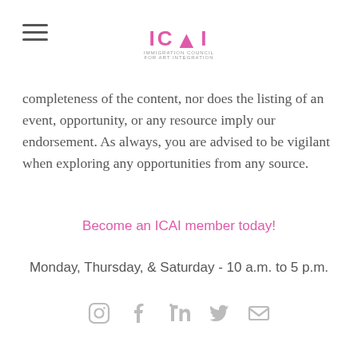ICAI
completeness of the content, nor does the listing of an event, opportunity, or any resource imply our endorsement. As always, you are advised to be vigilant when exploring any opportunities from any source.
Become an ICAI member today!
Monday, Thursday, & Saturday - 10 a.m. to 5 p.m.
[Figure (illustration): Social media icons: Instagram, Facebook, LinkedIn, Twitter, Email]